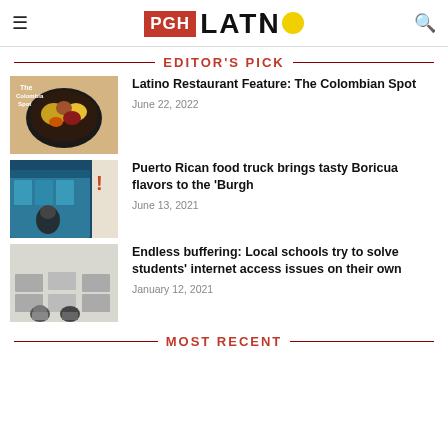PGH LATINO
EDITOR'S PICK
[Figure (photo): Bowl of Colombian food with rice, beans, and yellow plantains]
Latino Restaurant Feature: The Colombian Spot
June 22, 2022
[Figure (photo): Man sitting in doorway of a colorful Puerto Rican food truck]
Puerto Rican food truck brings tasty Boricua flavors to the 'Burgh
June 13, 2021
[Figure (photo): Students sitting in a classroom with laptops on the floor]
Endless buffering: Local schools try to solve students' internet access issues on their own
January 12, 2021
MOST RECENT